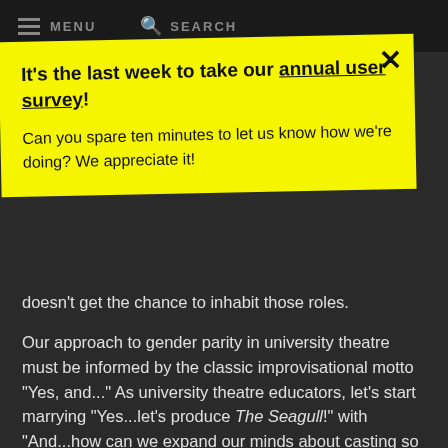MENU   SEARCH
[Figure (infographic): Yellow banner popup with close X button, bold headline 'It's the last week to take our annual user survey!' with 'annual user survey' underlined, and body text 'Can you spare ten minutes to let us know how we're doing? We appreciate it!']
doesn't get the chance to inhabit those roles.
Our approach to gender parity in university theatre must be informed by the classic improvisational motto "Yes, and..." As university theatre educators, let's start marrying "Yes...let's produce The Seagull!" with "And...how can we expand our minds about casting so that we can get more women onstage in this wonderful play?"